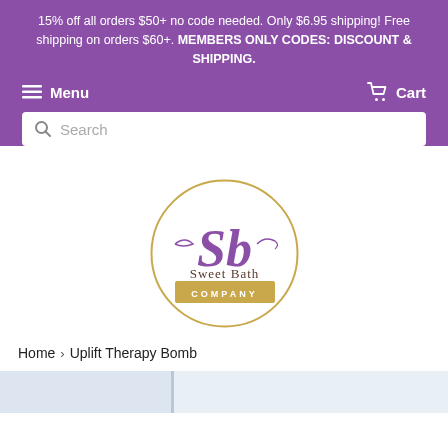15% off all orders $50+ no code needed. Only $6.95 shipping! Free shipping on orders $60+. MEMBERS ONLY CODES: DISCOUNT & SHIPPING.
Menu   Cart
[Figure (logo): Sweet Bath Company logo — circular gold ring with purple cursive 'Sb' script and 'Sweet Bath COMPANY' text]
Home › Uplift Therapy Bomb